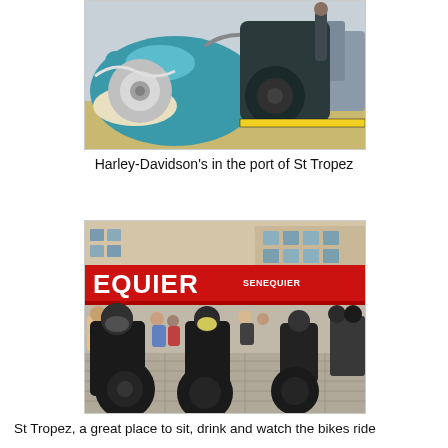[Figure (photo): Harley-Davidson motorcycles parked closely together at the port of St Tropez. A teal/turquoise Harley is prominent in the foreground with chrome engine details visible. Multiple motorcycles lined up on a dock.]
Harley-Davidson's in the port of St Tropez
[Figure (photo): Street scene in St Tropez showing motorcyclists riding past the Café de Paris / Senequier cafe with its iconic red awning. Crowds of people watching from outdoor seating. Multiple Harley-Davidson riders in black leather gear.]
St Tropez, a great place to sit, drink and watch the bikes ride